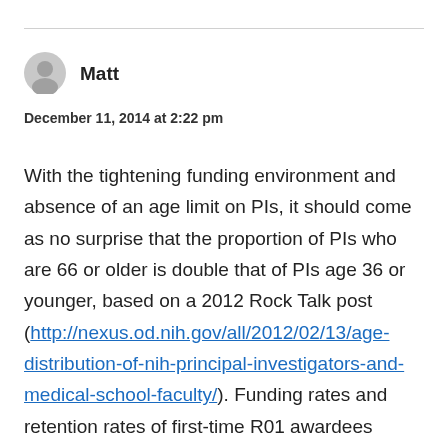Matt
December 11, 2014 at 2:22 pm
With the tightening funding environment and absence of an age limit on PIs, it should come as no surprise that the proportion of PIs who are 66 or older is double that of PIs age 36 or younger, based on a 2012 Rock Talk post (http://nexus.od.nih.gov/all/2012/02/13/age-distribution-of-nih-principal-investigators-and-medical-school-faculty/). Funding rates and retention rates of first-time R01 awardees would likely improve if NIH introduced an age limit for PIs. That would enable well-established investigators to continue their